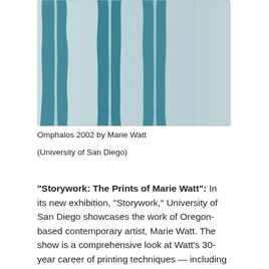[Figure (illustration): Abstract artwork showing vertical teal/blue brushstrokes on a light grey-blue background. The painting has rounded corners and depicts Omphalos 2002 by Marie Watt.]
Omphalos 2002 by Marie Watt
(University of San Diego)
“Storywork: The Prints of Marie Watt”: In its new exhibition, “Storywork,” University of San Diego showcases the work of Oregon-based contemporary artist, Marie Watt. The show is a comprehensive look at Watt’s 30-year career of printing techniques — including etching and